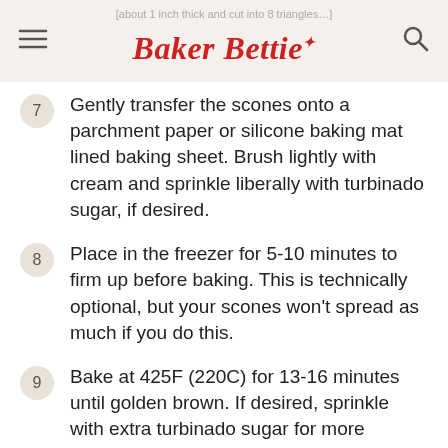Baker Bettie
Gently transfer the scones onto a parchment paper or silicone baking mat lined baking sheet. Brush lightly with cream and sprinkle liberally with turbinado sugar, if desired.
Place in the freezer for 5-10 minutes to firm up before baking. This is technically optional, but your scones won't spread as much if you do this.
Bake at 425F (220C) for 13-16 minutes until golden brown. If desired, sprinkle with extra turbinado sugar for more texture.